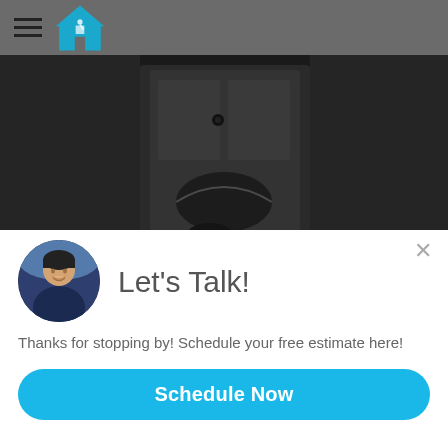Navigation header with hamburger menu and house logo
[Figure (photo): Dark hero image showing a house entryway/door with camera security device, dimly lit]
Let's Talk!
Thanks for stopping by! Schedule your free estimate here!
Schedule Now